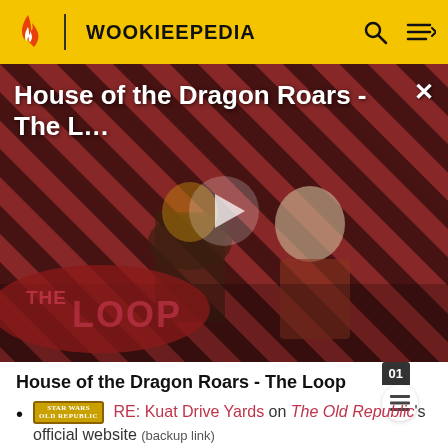WOOKIEEPEDIA
[Figure (screenshot): Video thumbnail for 'House of the Dragon Roars - The Loop' showing two characters against a red diagonal stripe background with THE LOOP logo overlay and a play button in the center]
House of the Dragon Roars - The Loop
RE: Kuat Drive Yards on The Old Republic's official website (backup link)
Suns of Fortune